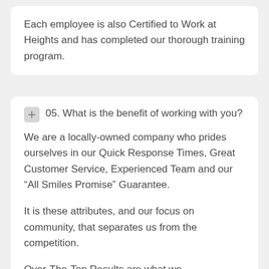Each employee is also Certified to Work at Heights and has completed our thorough training program.
05. What is the benefit of working with you?
We are a locally-owned company who prides ourselves in our Quick Response Times, Great Customer Service, Experienced Team and our “All Smiles Promise” Guarantee.
It is these attributes, and our focus on community, that separates us from the competition.
Over-The-Top Results are what we